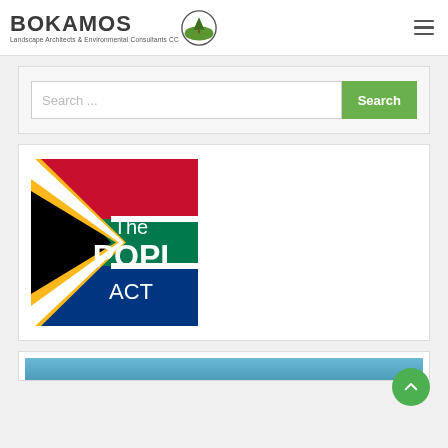BOKAMOS - Landscape Architects & Environmental Consultants CC
[Figure (screenshot): Search bar with text 'Search ...' and green 'Search' button]
[Figure (illustration): South African flag image with text overlay 'The POPI ACT']
[Figure (photo): Partial blue image strip visible at bottom of page]